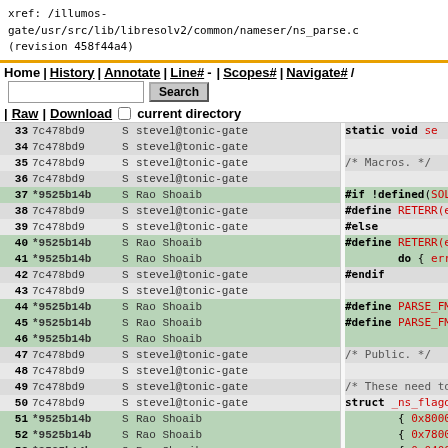xref: /illumos-gate/usr/src/lib/libresolv2/common/nameser/ns_parse.c (revision 458f44a4)
Home | History | Annotate | Line# | Scopes# | Navigate# / | Raw | Download  Search  current directory
[Figure (screenshot): Source code browser showing annotated view of ns_parse.c with line numbers 33-55, revision hashes, authors (stevel@tonic-gate, Rao Shoaib), and C source code fragments including macro definitions, RETERR, PARSE_FMT, struct _ns_flagdata with hex values 0x8000, 0x7800, 0x0400, 0x0200, 0x0100]